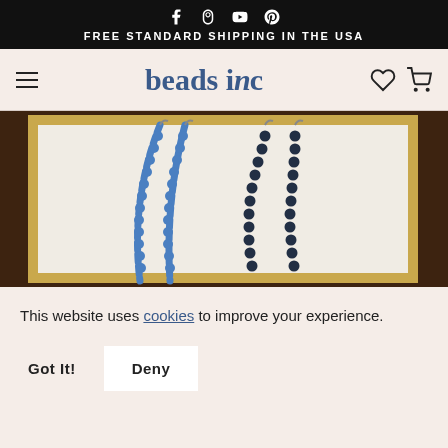FREE STANDARD SHIPPING IN THE USA
beads inc
[Figure (photo): Close-up photo of blue and dark navy bead necklaces draped over a white framed surface with a dark wooden background]
This website uses cookies to improve your experience.
Got It!
Deny